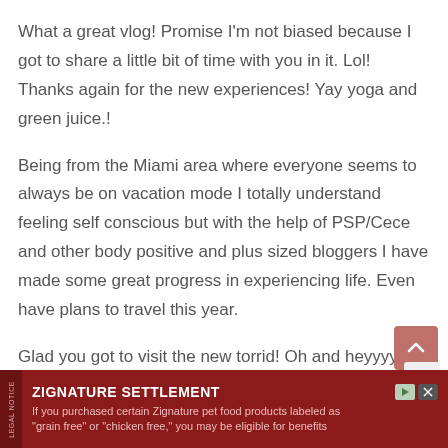What a great vlog! Promise I'm not biased because I got to share a little bit of time with you in it. Lol! Thanks again for the new experiences! Yay yoga and green juice.!
Being from the Miami area where everyone seems to always be on vacation mode I totally understand feeling self conscious but with the help of PSP/Cece and other body positive and plus sized bloggers I have made some great progress in experiencing life. Even have plans to travel this year.
Glad you got to visit the new torrid! Oh and heyyyyy Jasmin!
[Figure (other): Scroll-to-top button: a dark rose/mauve rounded square button with an upward-pointing chevron arrow]
[Figure (other): Close button: a light gray square with X character]
ZIGNATURE SETTLEMENT If you purchased certain Zignature pet food products labeled as "grain free" or "chicken free," you may be eligible for benefits